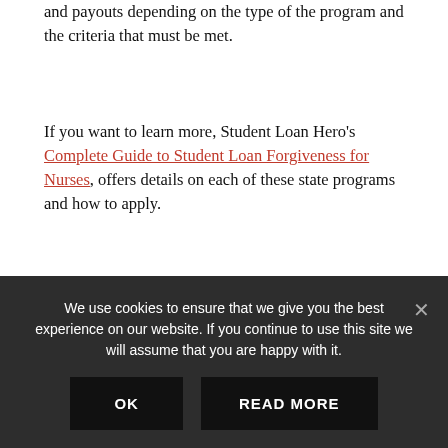and payouts depending on the type of the program and the criteria that must be met.
If you want to learn more, Student Loan Hero's Complete Guide to Student Loan Forgiveness for Nurses, offers details on each of these state programs and how to apply.
Managing your Student Loans – With or Without Forgiveness
Even if you decide not to pursue loan forgiveness,
We use cookies to ensure that we give you the best experience on our website. If you continue to use this site we will assume that you are happy with it.